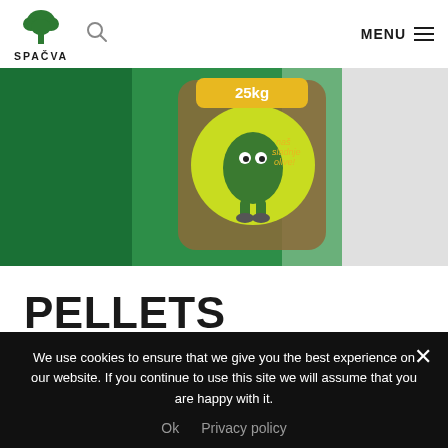SPAČVA — MENU
[Figure (photo): Spačva pellets product bag shown against a green background, featuring the Spačva mascot and branding with '25kg' text]
PELLETS
Teneur en cendres    ~ 0,7%
We use cookies to ensure that we give you the best experience on our website. If you continue to use this site we will assume that you are happy with it.
Ok   Privacy policy